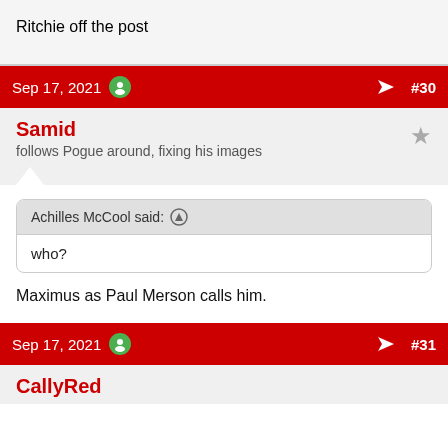Ritchie off the post
Sep 17, 2021  #30
Samid
follows Pogue around, fixing his images
Achilles McCool said: ↑
who?
Maximus as Paul Merson calls him.
Sep 17, 2021  #31
CallyRed